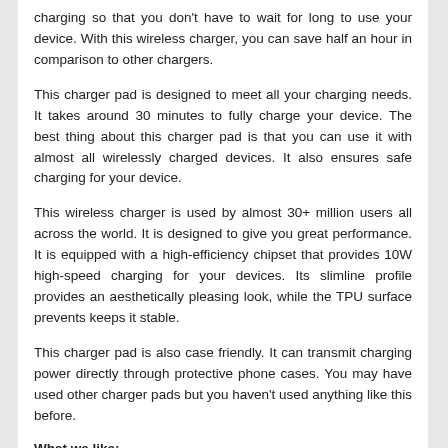charging so that you don't have to wait for long to use your device. With this wireless charger, you can save half an hour in comparison to other chargers.
This charger pad is designed to meet all your charging needs. It takes around 30 minutes to fully charge your device. The best thing about this charger pad is that you can use it with almost all wirelessly charged devices. It also ensures safe charging for your device.
This wireless charger is used by almost 30+ million users all across the world. It is designed to give you great performance. It is equipped with a high-efficiency chipset that provides 10W high-speed charging for your devices. Its slimline profile provides an aesthetically pleasing look, while the TPU surface prevents keeps it stable.
This charger pad is also case friendly. It can transmit charging power directly through protective phone cases. You may have used other charger pads but you haven't used anything like this before.
What we like: